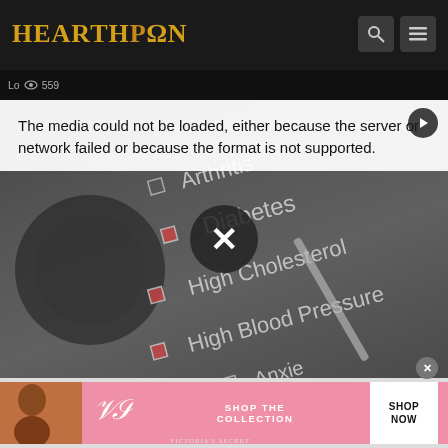HEARTHPΩN
Lo... 559
[Figure (screenshot): Medical checklist image showing checkboxes for Arthritis, Diabetes, High Cholesterol, High Blood Pressure, Anxiety, Lower Back Pain, with a stethoscope and pen visible. An error overlay reads: The media could not be loaded, either because the server or network failed or because the format is not supported. A circular X button is overlaid in the center.]
[Figure (photo): Victoria's Secret advertisement banner showing a woman with curly hair, VS logo, text SHOP THE COLLECTION, and a SHOP NOW button.]